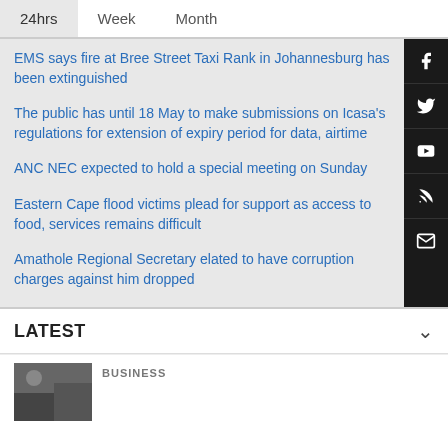24hrs | Week | Month
EMS says fire at Bree Street Taxi Rank in Johannesburg has been extinguished
The public has until 18 May to make submissions on Icasa's regulations for extension of expiry period for data, airtime
ANC NEC expected to hold a special meeting on Sunday
Eastern Cape flood victims plead for support as access to food, services remains difficult
Amathole Regional Secretary elated to have corruption charges against him dropped
LATEST
BUSINESS
[Figure (photo): Thumbnail image for a business news article]